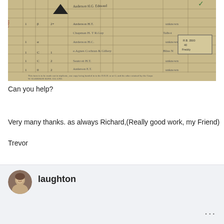[Figure (photo): Scanned historical handwritten ledger or military record document, aged yellow paper with ink entries in rows and columns, showing names and numbers. A black triangular stamp and a rectangular label are visible. Small printed text at the bottom of the document.]
Can you help?
Very many thanks. as always Richard,(Really good work, my Friend)

Trevor
laughton